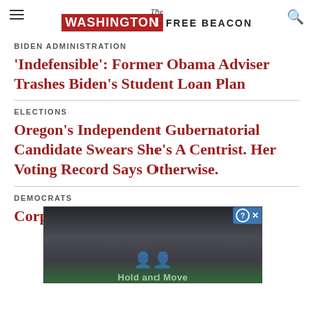The Washington Free Beacon
BIDEN ADMINISTRATION
'Indefensible': Former Obama Adviser Trashes Biden's Student Loan Plan
ELECTIONS
Oregon's Independent Gubernatorial Candidate Swears She's A Centrist. Her Voting Record Says Otherwise.
DEMOCRATS
Corporate Democrat: Stacey Abrams ... Shadowy Company, Report Finds
[Figure (screenshot): Advertisement overlay showing 'Hold and Move' game/app ad with dark background and tree imagery]